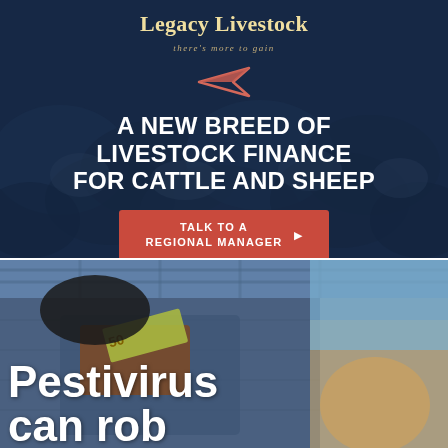[Figure (illustration): Legacy Livestock advertisement banner with dark navy blue background overlaid on crowd of cattle/sheep, featuring company logo, arrow icon, headline text, and CTA button]
Legacy Livestock
there's more to gain
A NEW BREED OF LIVESTOCK FINANCE FOR CATTLE AND SHEEP
TALK TO A REGIONAL MANAGER
[Figure (photo): Close-up photo of hands reaching into back denim jeans pockets, one gloved hand stealing a wallet with $50 note, and bottom-right shows a Brahman cattle head. Text overlay reads 'Pestivirus can rob']
Pestivirus can rob